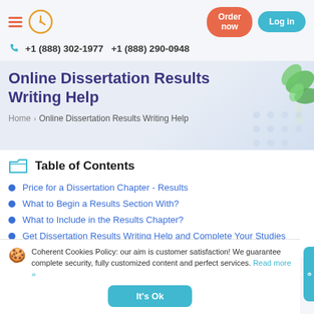Order now   Log in
+1 (888) 302-1977   +1 (888) 290-0948
Online Dissertation Results Writing Help
Home › Online Dissertation Results Writing Help
Table of Contents
Price for a Dissertation Chapter - Results
What to Begin a Results Section With?
What to Include in the Results Chapter?
Get Dissertation Results Writing Help and Complete Your Studies Successfully
Coherent Cookies Policy: our aim is customer satisfaction! We guarantee complete security, fully customized content and perfect services. Read more »